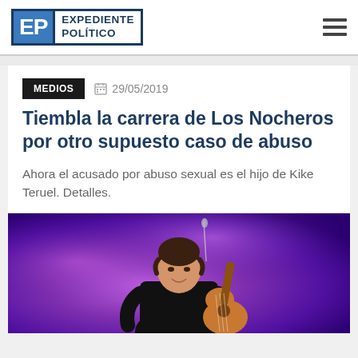EXPEDIENTE POLÍTICO
MEDIOS    29/05/2019
Tiembla la carrera de Los Nocheros por otro supuesto caso de abuso
Ahora el acusado por abuso sexual es el hijo de Kike Teruel. Detalles.
[Figure (photo): Young male musician with curly hair playing an acoustic guitar on stage, wearing a black polo shirt, purple/violet stage lighting in background]